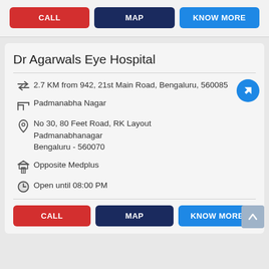CALL
MAP
KNOW MORE
Dr Agarwals Eye Hospital
2.7 KM from 942, 21st Main Road, Bengaluru, 560085
Padmanabha Nagar
No 30, 80 Feet Road, RK Layout
Padmanabhanagar
Bengaluru - 560070
Opposite Medplus
Open until 08:00 PM
CALL
MAP
KNOW MORE